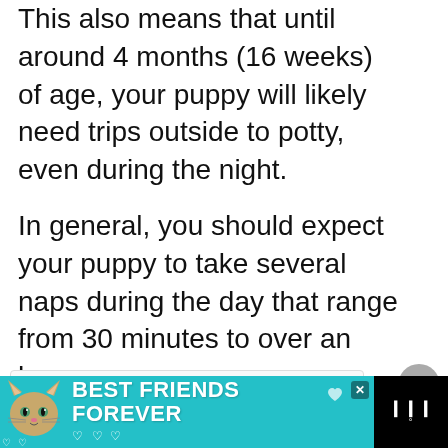This also means that until around 4 months (16 weeks) of age, your puppy will likely need trips outside to potty, even during the night.
In general, you should expect your puppy to take several naps during the day that range from 30 minutes to over an hour.
[Figure (screenshot): Advertisement banner at the bottom showing a cat with text 'BEST FRIENDS FOREVER' on a teal background, with close button and brand logo on the right.]